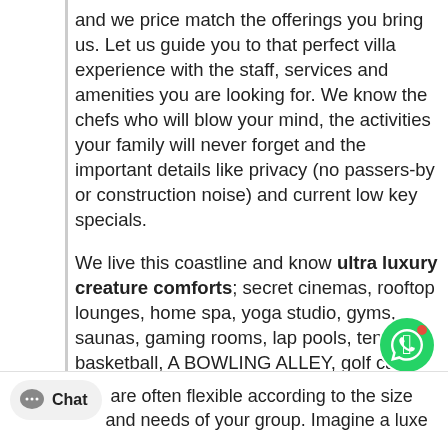and we price match the offerings you bring us. Let us guide you to that perfect villa experience with the staff, services and amenities you are looking for. We know the chefs who will blow your mind, the activities your family will never forget and the important details like privacy (no passers-by or construction noise) and current low key specials.
We live this coastline and know ultra luxury creature comforts; secret cinemas, rooftop lounges, home spa, yoga studio, gyms, saunas, gaming rooms, lap pools, tennis, basketball, A BOWLING ALLEY, golf carts, house transportation for everyone…etc. We offer a wide range of options and no detail is too small. Just tell us what you have in mind and we will find it exactly.
are often flexible according to the size and needs of your group. Imagine a luxe